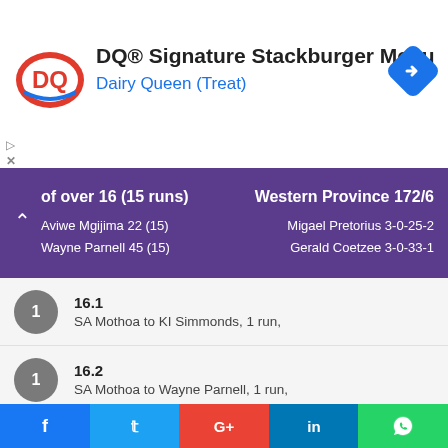[Figure (screenshot): Dairy Queen DQ Signature Stackburger Menu advertisement banner with DQ logo and navigation icon]
of over 16 (15 runs)   Western Province 172/6
Aviwe Mgijima 22 (15)
Wayne Parnell 45 (15)
Migael Pretorius 3-0-25-2
Gerald Coetzee 3-0-33-1
16.1
SA Mothoa to KI Simmonds, 1 run,
16.2
SA Mothoa to Wayne Parnell, 1 run,
16.3
SA Mothoa to KI Simmonds, 1 run,
16.4
f   Twitter   G+   in   WhatsApp